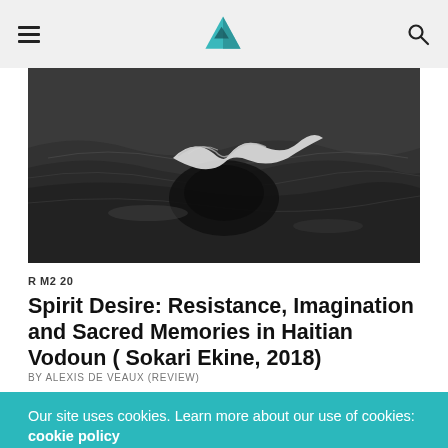Navigation bar with hamburger menu, site logo (triangle), and search icon
[Figure (photo): Black and white photograph showing a figure partially submerged or lying in dark water, with flowing white fabric or hair visible against the dark textured water surface]
R M2 20
Spirit Desire: Resistance, Imagination and Sacred Memories in Haitian Vodoun ( Sokari Ekine, 2018)
BY ALEXIS DE VEAUX (REVIEW)
Our site uses cookies. Learn more about our use of cookies: cookie policy
ACCEPT